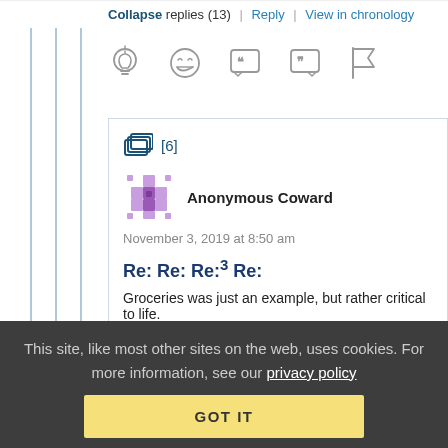Collapse replies (13) | Reply | View in chronology
[Figure (other): Row of action icons: lightbulb, laughing emoji, open quote, close quote, flag]
[6]
[Figure (illustration): Anonymous Coward avatar - purple diamond/snowflake pixel art icon]
Anonymous Coward
November 3, 2019 at 8:50 am
Re: Re: Re:³ Re:
Groceries was just an example, but rather critical to life.
This site, like most other sites on the web, uses cookies. For more information, see our privacy policy
GOT IT